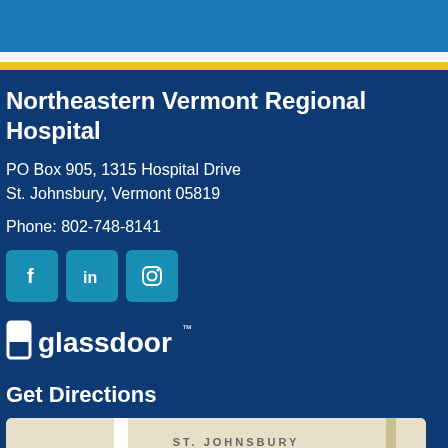Northeastern Vermont Regional Hospital
PO Box 905, 1315 Hospital Drive
St. Johnsbury, Vermont 05819
Phone: 802-748-8141
[Figure (logo): Social media icons: Facebook, LinkedIn, Instagram]
[Figure (logo): Glassdoor logo in white on dark blue background]
Get Directions
[Figure (map): Map showing St. Johnsbury Center area]